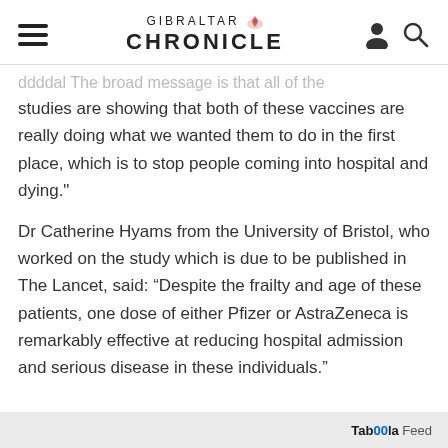GIBRALTAR CHRONICLE
ddddal The broad message is that all of the studies are showing that both of these vaccines are really doing what we wanted them to do in the first place, which is to stop people coming into hospital and dying."
Dr Catherine Hyams from the University of Bristol, who worked on the study which is due to be published in The Lancet, said: “Despite the frailty and age of these patients, one dose of either Pfizer or AstraZeneca is remarkably effective at reducing hospital admission and serious disease in these individuals."
Taboola Feed